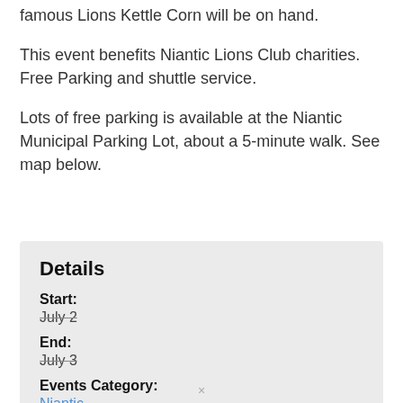famous Lions Kettle Corn will be on hand.
This event benefits Niantic Lions Club charities. Free Parking and shuttle service.
Lots of free parking is available at the Niantic Municipal Parking Lot, about a 5-minute walk. See map below.
Details
Start: July 2
End: July 3
Events Category: Niantic